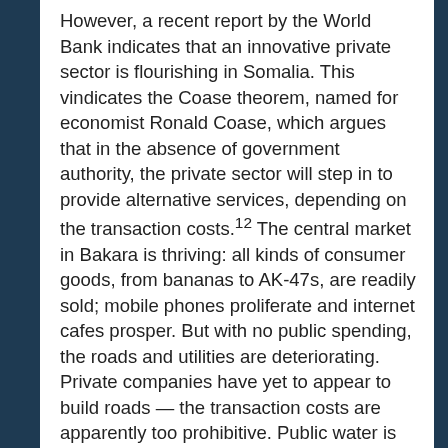However, a recent report by the World Bank indicates that an innovative private sector is flourishing in Somalia. This vindicates the Coase theorem, named for economist Ronald Coase, which argues that in the absence of government authority, the private sector will step in to provide alternative services, depending on the transaction costs.12 The central market in Bakara is thriving: all kinds of consumer goods, from bananas to AK-47s, are readily sold; mobile phones proliferate and internet cafes prosper. But with no public spending, the roads and utilities are deteriorating. Private companies have yet to appear to build roads — the transaction costs are apparently too prohibitive. Public water is limited to urban areas, and is not considered